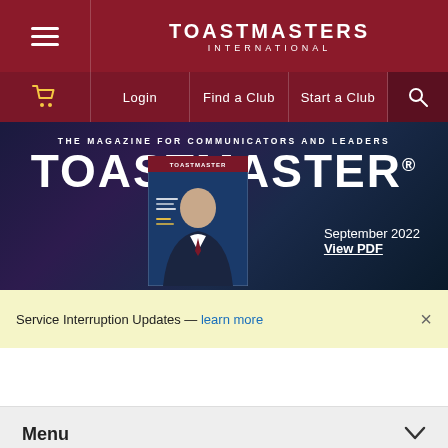TOASTMASTERS INTERNATIONAL
[Figure (screenshot): Toastmasters International website screenshot showing navigation bar with hamburger menu, brand logo, Login/Find a Club/Start a Club links, and Toastmaster magazine hero banner for September 2022 with View PDF link, a Service Interruption Updates alert bar, a Menu accordion bar, and a Share This Article footer]
THE MAGAZINE FOR COMMUNICATORS AND LEADERS
TOASTMASTER®
September 2022
View PDF
Service Interruption Updates — learn more
Menu
Share This Article